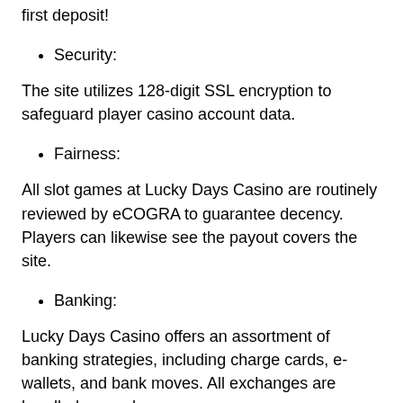first deposit!
Security:
The site utilizes 128-digit SSL encryption to safeguard player casino account data.
Fairness:
All slot games at Lucky Days Casino are routinely reviewed by eCOGRA to guarantee decency. Players can likewise see the payout covers the site.
Banking:
Lucky Days Casino offers an assortment of banking strategies, including charge cards, e-wallets, and bank moves. All exchanges are handled securely.